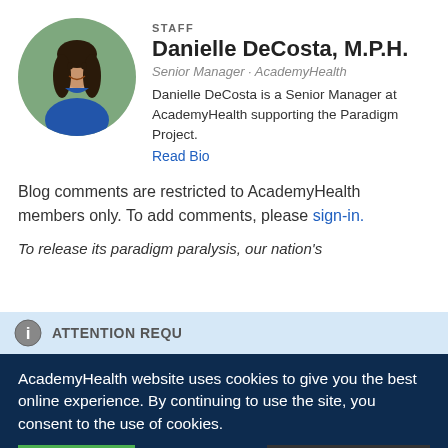[Figure (photo): Circular profile photo of Danielle DeCosta, a woman with long dark hair wearing a blue top, with a green background.]
STAFF
Danielle DeCosta, M.P.H.
Senior Manager · AcademyHealth
Danielle DeCosta is a Senior Manager at AcademyHealth supporting the Paradigm Project.
Read Bio
Blog comments are restricted to AcademyHealth members only. To add comments, please sign-in.
To release its paradigm paralysis, our nation's
ATTENTION REQU
AcademyHealth website uses cookies to give you the best online experience. By continuing to use the site, you consent to the use of cookies.
Accept
Privacy Center
would be needed, as alphabetically listed as: